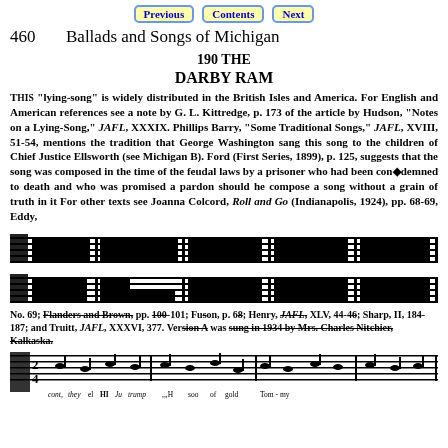Previous | Contents | Next
460    Ballads and Songs of Michigan
190 THE
DARBY RAM
THIS "lying-song" is widely distributed in the British Isles and America. For English and American references see a note by G. L. Kittredge, p. 173 of the article by Hudson, "Notes on a Lying-Song," JAFL, XXXIX. Phillips Barry, "Some Traditional Songs," JAFL, XVIII, 51-54, mentions the tradition that George Washington sang this song to the children of Chief Justice Ellsworth (see Michigan B). Ford (First Series, 1899), p. 125, suggests that the song was composed in the time of the feudal laws by a prisoner who had been condemned to death and who was promised a pardon should he compose a song without a grain of truth in it For other texts see Joanna Colcord, Roll and Go (Indianapolis, 1924), pp. 68-69, Eddy,
[Figure (other): Musical staff notation, first line]
[Figure (other): Musical staff notation, second line]
No. 69; Flanders and Brown, pp. 100-101; Fuson, p. 68; Henry, JAFL, XLV, 44-46; Sharp, II, 184-187; and Truitt, JAFL, XXXVI, 377. Version A was sung in 1934 by Mrs. Charles Nitchier, Kalkaska.
[Figure (other): Musical staff notation with text underlay showing lyrics including 'cont', 'they', 'HI', 'trump', 'M', 'soo', 'of', 'gold', 'Tom-my']